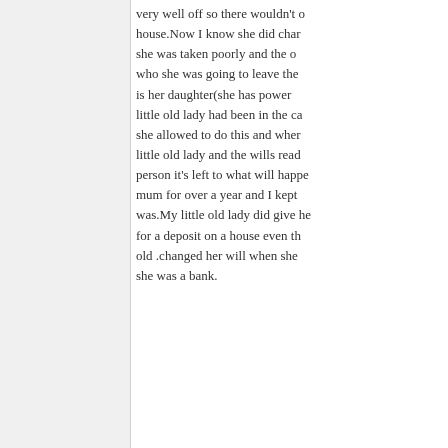very well off so there wouldn't o... house.Now I know she did char... she was taken poorly and the o... who she was going to leave the... is her daughter(she has power o... little old lady had been in the ca... she allowed to do this and wher... little old lady and the wills read ... person it's left to what will happe... mum for over a year and I kept ... was.My little old lady did give he... for a deposit on a house even th... old .changed her will when she ... she was a bank.
15-09-15 13:07
mcclonk
Senior Member
Join Date: Aug 2013
Location: Gloucestershire
Posts: 167
Apologies to you Sea Queen bu... posting in which you said that y... EXECUTIONERS! No wonder it...
Caring is an art not a science